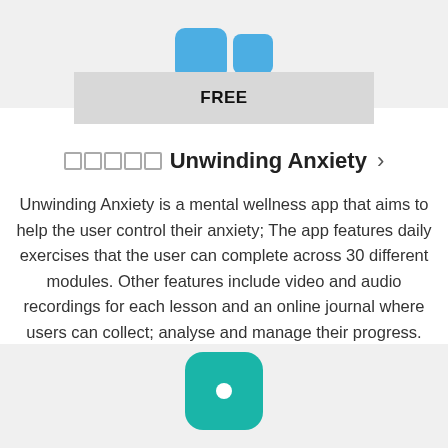[Figure (screenshot): Top portion of a mobile app listing UI showing blue app icon shapes on a grey background]
FREE
Unwinding Anxiety >
Unwinding Anxiety is a mental wellness app that aims to help the user control their anxiety; The app features daily exercises that the user can complete across 30 different modules. Other features include video and audio recordings for each lesson and an online journal where users can collect; analyse and manage their progress.
[Figure (screenshot): Bottom portion showing top of a teal rounded-square app icon on a grey background]